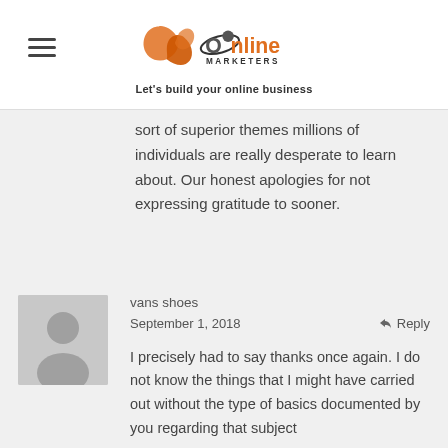JR Online Marketers — Let's build your online business
sort of superior themes millions of individuals are really desperate to learn about. Our honest apologies for not expressing gratitude to sooner.
[Figure (photo): Default user avatar placeholder — grey silhouette of a person on light grey background]
vans shoes
September 1, 2018
Reply
I precisely had to say thanks once again. I do not know the things that I might have carried out without the type of basics documented by you regarding that subject